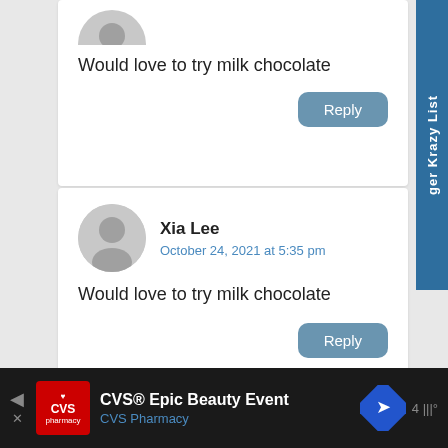[Figure (screenshot): Sidebar tab with text 'ger Krazy List' on teal/blue background]
Would love to try milk chocolate
Reply
Xia Lee
October 24, 2021 at 5:35 pm
Would love to try milk chocolate
Reply
CVS® Epic Beauty Event
CVS Pharmacy